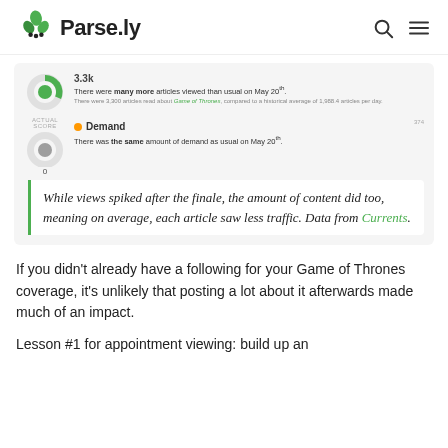Parse.ly
[Figure (screenshot): Parse.ly Currents dashboard screenshot showing 3.3k articles viewed with 'many more' than usual on May 20th, and a Demand gauge showing 'the same' amount as usual. Includes a blockquote: 'While views spiked after the finale, the amount of content did too, meaning on average, each article saw less traffic. Data from Currents.']
If you didn't already have a following for your Game of Thrones coverage, it's unlikely that posting a lot about it afterwards made much of an impact.
Lesson #1 for appointment viewing: build up an